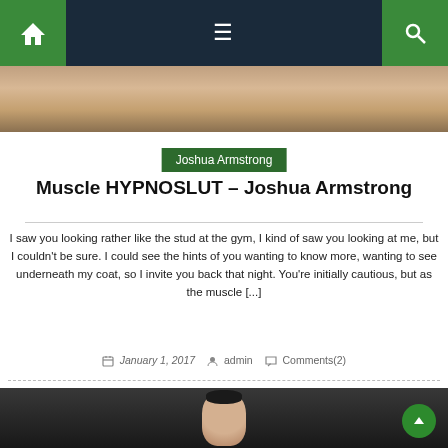Navigation bar with home, menu, and search icons
[Figure (photo): Partial body image at top of page]
Joshua Armstrong
Muscle HYPNOSLUT – Joshua Armstrong
I saw you looking rather like the stud at the gym, I kind of saw you looking at me, but I couldn't be sure. I could see the hints of you wanting to know more, wanting to see underneath my coat, so I invite you back that night. You're initially cautious, but as the muscle [...]
January 1, 2017   admin   Comments(2)
[Figure (photo): Portrait photo of a man at bottom of page]